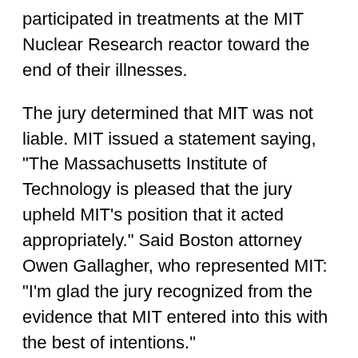participated in treatments at the MIT Nuclear Research reactor toward the end of their illnesses.
The jury determined that MIT was not liable. MIT issued a statement saying, "The Massachusetts Institute of Technology is pleased that the jury upheld MIT's position that it acted appropriately." Said Boston attorney Owen Gallagher, who represented MIT: "I'm glad the jury recognized from the evidence that MIT entered into this with the best of intentions."
The jury found Dr. Sweet and MGH liable for $3 million in compensatory damages and $5 million in punitive damages.
Awarded $2.5 million was Evelyn Heinrich of